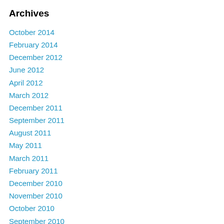Archives
October 2014
February 2014
December 2012
June 2012
April 2012
March 2012
December 2011
September 2011
August 2011
May 2011
March 2011
February 2011
December 2010
November 2010
October 2010
September 2010
August 2010
July 2010